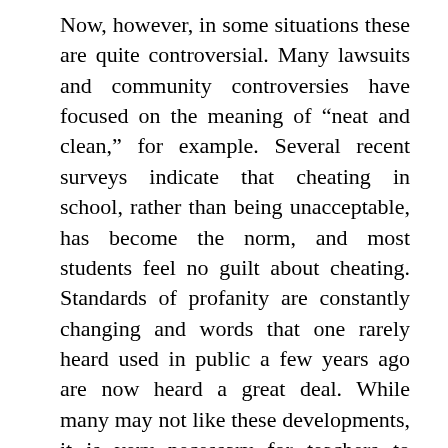Now, however, in some situations these are quite controversial. Many lawsuits and community controversies have focused on the meaning of “neat and clean,” for example. Several recent surveys indicate that cheating in school, rather than being unacceptable, has become the norm, and most students feel no guilt about cheating. Standards of profanity are constantly changing and words that one rarely heard used in public a few years ago are now heard a great deal. While many may not like these developments, it is very necessary for teachers to recognize that they are taking place. [8]
Knowing what you now know about the goals of the